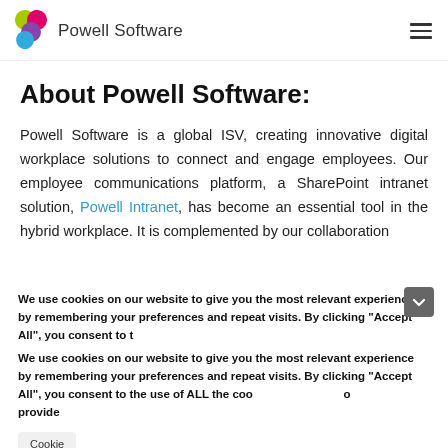Powell Software
About Powell Software:
Powell Software is a global ISV, creating innovative digital workplace solutions to connect and engage employees. Our employee communications platform, a SharePoint intranet solution, Powell Intranet, has become an essential tool in the hybrid workplace. It is complemented by our collaboration
We use cookies on our website to give you the most relevant experience by remembering your preferences and repeat visits. By clicking "Accept All", you consent to the use of ALL the cookies. However, you may visit "Cookie Settings" to provide
Cookie
[Figure (infographic): Pink/magenta popup overlay with text 'Want to know more about your MS Teams Usage ?' and a white Reply button]
Want to know more about your MS Teams Usage ?
Reply